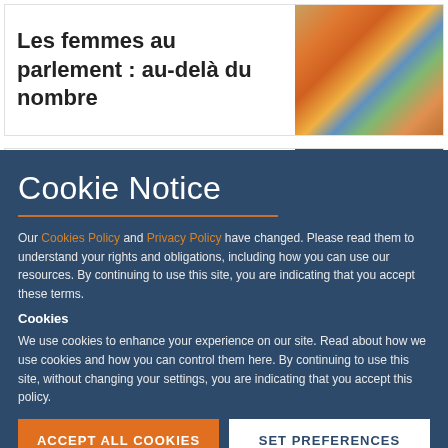Les femmes au parlement : au-delà du nombre
[Figure (illustration): Colorful painting/illustration of people standing together]
Cookie Notice
Our Cookies Policy and Privacy Policy have changed. Please read them to understand your rights and obligations, including how you can use our resources. By continuing to use this site, you are indicating that you accept these terms.
Cookies
We use cookies to enhance your experience on our site. Read about how we use cookies and how you can control them here. By continuing to use this site, without changing your settings, you are indicating that you accept this policy.
ACCEPT ALL COOKIES
SET PREFERENCES